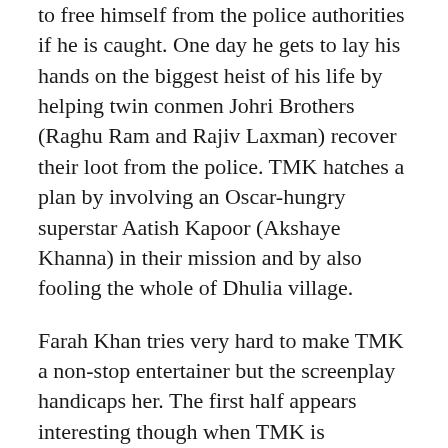to free himself from the police authorities if he is caught. One day he gets to lay his hands on the biggest heist of his life by helping twin conmen Johri Brothers (Raghu Ram and Rajiv Laxman) recover their loot from the police. TMK hatches a plan by involving an Oscar-hungry superstar Aatish Kapoor (Akshaye Khanna) in their mission and by also fooling the whole of Dhulia village.
Farah Khan tries very hard to make TMK a non-stop entertainer but the screenplay handicaps her. The first half appears interesting though when TMK is introduced and his con acts displayed. This portion also produces some good funny moments. However, the build up to the robbery (second half), the actual robbery and its consequences just fail to impress or amuse. In fact, the goings appears quite idiotic at times courtesy of too much mindlessness